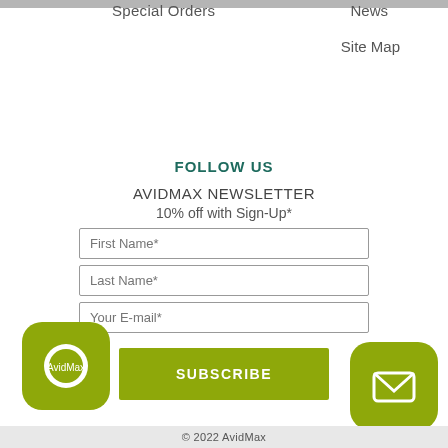Special Orders
News
Site Map
FOLLOW US
AVIDMAX NEWSLETTER
10% off with Sign-Up*
First Name*
Last Name*
Your E-mail*
SUBSCRIBE
© 2022 AvidMax